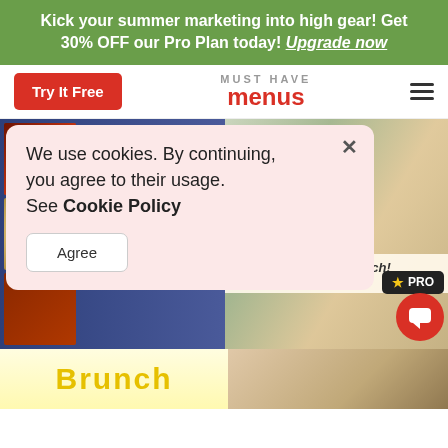Kick your summer marketing into high gear! Get 30% OFF our Pro Plan today! Upgrade now
[Figure (screenshot): Must Have Menus website navigation bar with Try It Free button, logo, and hamburger menu]
[Figure (screenshot): Two brunch flyer templates side by side - left shows All You Can Eat Brunch with food photos, right shows Let's Get Brunch with avocado egg toast photo]
We use cookies. By continuing, you agree to their usage. See Cookie Policy
[Figure (screenshot): Agree button for cookie consent dialog]
[Figure (screenshot): PRO badge and chat button overlay on right side]